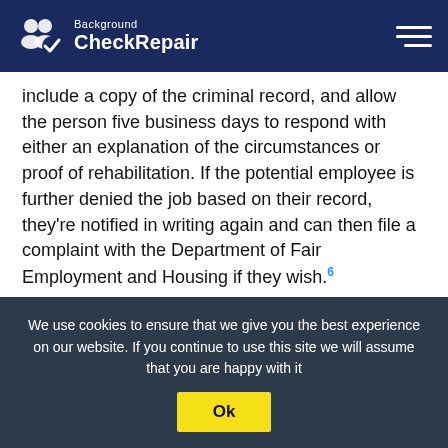Background CheckRepair
include a copy of the criminal record, and allow the person five business days to respond with either an explanation of the circumstances or proof of rehabilitation. If the potential employee is further denied the job based on their record, they're notified in writing again and can then file a complaint with the Department of Fair Employment and Housing if they wish.6
Updates to FEHA now include clauses that don't allow employers to get around the rules by allowing people to work before their background checks come in, technically losing their status as an "applicant."
We use cookies to ensure that we give you the best experience on our website. If you continue to use this site we will assume that you are happy with it